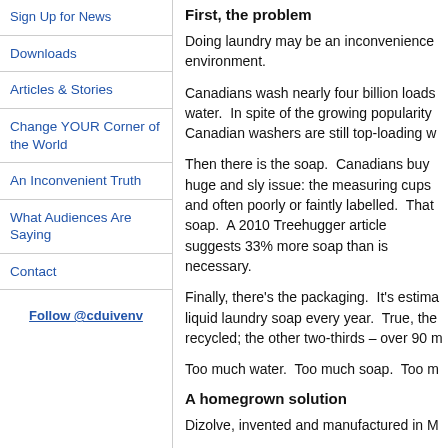Sign Up for News
Downloads
Articles & Stories
Change YOUR Corner of the World
An Inconvenient Truth
What Audiences Are Saying
Contact
Follow @cduivenv
First, the problem
Doing laundry may be an inconvenience environment.
Canadians wash nearly four billion loads water. In spite of the growing popularity Canadian washers are still top-loading w
Then there is the soap. Canadians buy huge and sly issue: the measuring cups and often poorly or faintly labelled. That soap. A 2010 Treehugger article suggests 33% more soap than is necessary.
Finally, there's the packaging. It's estima liquid laundry soap every year. True, the recycled; the other two-thirds – over 90 m
Too much water. Too much soap. Too m
A homegrown solution
Dizolve, invented and manufactured in M